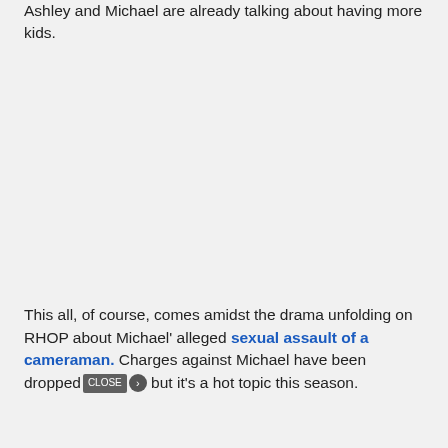Ashley and Michael are already talking about having more kids.
This all, of course, comes amidst the drama unfolding on RHOP about Michael' alleged sexual assault of a cameraman. Charges against Michael have been dropped but it's a hot topic this season.